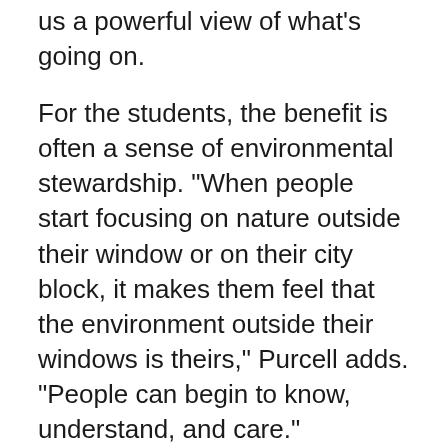us a powerful view of what's going on.
For the students, the benefit is often a sense of environmental stewardship. "When people start focusing on nature outside their window or on their city block, it makes them feel that the environment outside their windows is theirs," Purcell adds. "People can begin to know, understand, and care."
Data gathered for NestWatch also helps scientists. Participants in this continent-wide effort submit data about the location of nests as well as information such as the type of species and number of eggs or fledglings. (The group works closely with